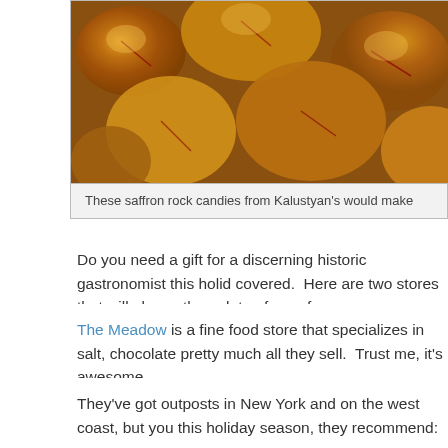[Figure (photo): Close-up photo of amber/golden saffron rock candies]
These saffron rock candies from Kalustyan's would make
Do you need a gift for a discerning historic gastronomist this holiday covered.  Here are two stores that will please the palate of your fa
The Meadow is a fine food store that specializes in salt, chocolate pretty much all they sell.  Trust me, it's awesome.
They've got outposts in New York and on the west coast, but you this holiday season, they recommend:
Scrappy's Bitters Gift Set – For the cocktail connoisseur producer Scrappy's has assembled the perfect gift sets, $
4-Pack Mini of Lime, Orange, Celery, Lavender.
4-Pack Mini of Orange, Chocolate, Cardamom, Gra